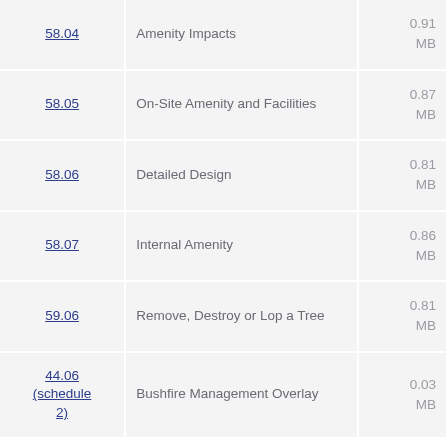| Code | Name | Size |
| --- | --- | --- |
| 58.04 | Amenity Impacts | 0.91 MB |
| 58.05 | On-Site Amenity and Facilities | 0.87 MB |
| 58.06 | Detailed Design | 0.81 MB |
| 58.07 | Internal Amenity | 0.86 MB |
| 59.06 | Remove, Destroy or Lop a Tree | 0.81 MB |
| 44.06 (schedule 2) | Bushfire Management Overlay | 0.03 MB |